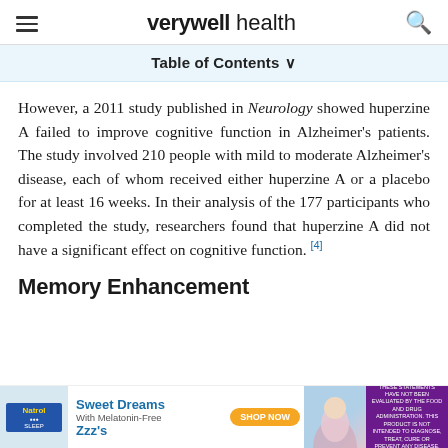verywell health
Table of Contents
However, a 2011 study published in Neurology showed huperzine A failed to improve cognitive function in Alzheimer's patients. The study involved 210 people with mild to moderate Alzheimer's disease, each of whom received either huperzine A or a placebo for at least 16 weeks. In their analysis of the 177 participants who completed the study, researchers found that huperzine A did not have a significant effect on cognitive function. [4]
Memory Enhancement
[Figure (other): Advertisement banner for Sweet Dreams with Melatonin-Free Zzz's supplement product with Shop Now button and disclaimer text]